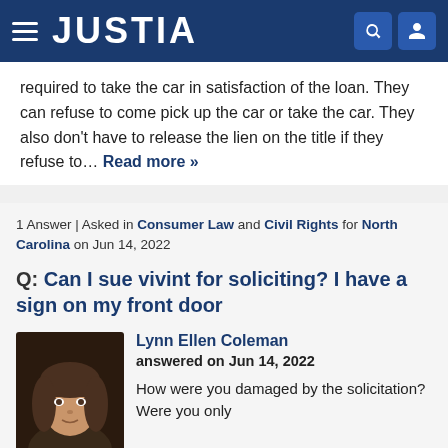JUSTIA
required to take the car in satisfaction of the loan. They can refuse to come pick up the car or take the car. They also don't have to release the lien on the title if they refuse to... Read more »
1 Answer | Asked in Consumer Law and Civil Rights for North Carolina on Jun 14, 2022
Q: Can I sue vivint for soliciting? I have a sign on my front door
[Figure (photo): Headshot of Lynn Ellen Coleman, a woman with long dark hair, against a dark background]
Lynn Ellen Coleman
answered on Jun 14, 2022
How were you damaged by the solicitation? Were you only